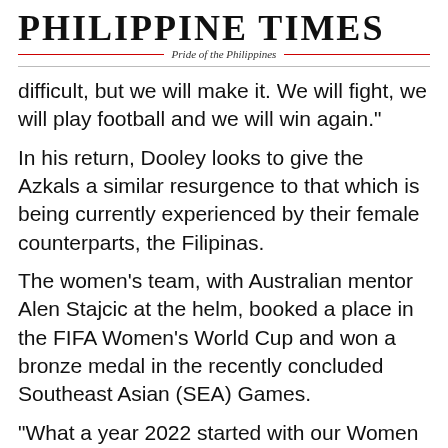PHILIPPINE TIMES
Pride of the Philippines
difficult, but we will make it. We will fight, we will play football and we will win again."
In his return, Dooley looks to give the Azkals a similar resurgence to that which is being currently experienced by their female counterparts, the Filipinas.
The women's team, with Australian mentor Alen Stajcic at the helm, booked a place in the FIFA Women's World Cup and won a bronze medal in the recently concluded Southeast Asian (SEA) Games.
"What a year 2022 started with our Women National Team Filipinas qualifying [for the] first time for the World Cup and getting [the] bronze medal in the SEA Games. Now let's work hard to complete and top